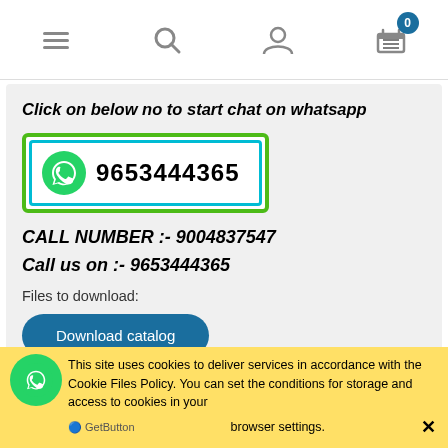Navigation bar with menu, search, account and cart icons
Click on below no to start chat on whatsapp
[Figure (screenshot): WhatsApp button with icon and phone number 9653444365, surrounded by green and cyan border]
CALL NUMBER :- 9004837547
Call us on :- 9653444365
Files to download:
Download catalog
Product gallery
This site uses cookies to deliver services in accordance with the Cookie Files Policy. You can set the conditions for storage and access to cookies in your browser settings.